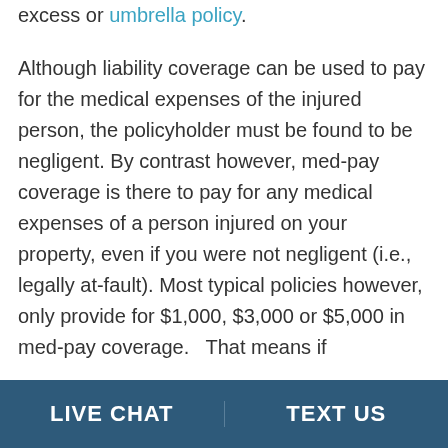excess or umbrella policy.
Although liability coverage can be used to pay for the medical expenses of the injured person, the policyholder must be found to be negligent. By contrast however, med-pay coverage is there to pay for any medical expenses of a person injured on your property, even if you were not negligent (i.e., legally at-fault). Most typical policies however, only provide for $1,000, $3,000 or $5,000 in med-pay coverage.   That means if
LIVE CHAT   TEXT US